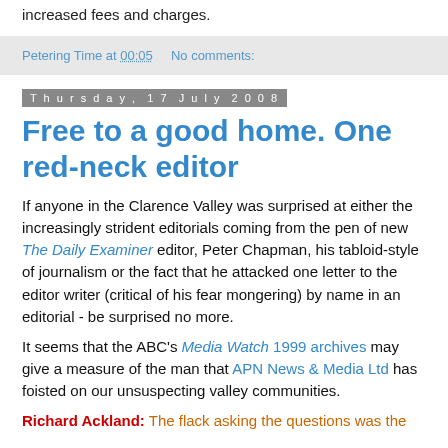increased fees and charges.
Petering Time at 00:05   No comments:
Thursday, 17 July 2008
Free to a good home. One red-neck editor
If anyone in the Clarence Valley was surprised at either the increasingly strident editorials coming from the pen of new The Daily Examiner editor, Peter Chapman, his tabloid-style of journalism or the fact that he attacked one letter to the editor writer (critical of his fear mongering) by name in an editorial - be surprised no more.
It seems that the ABC's Media Watch 1999 archives may give a measure of the man that APN News & Media Ltd has foisted on our unsuspecting valley communities.
Richard Ackland: The flack asking the questions was the